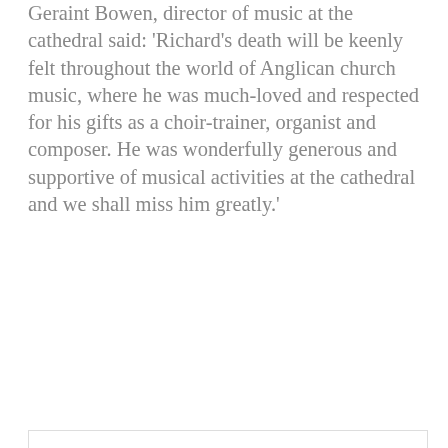Geraint Bowen, director of music at the cathedral said: 'Richard's death will be keenly felt throughout the world of Anglican church music, where he was much-loved and respected for his gifts as a choir-trainer, organist and composer. He was wonderfully generous and supportive of musical activities at the cathedral and we shall miss him greatly.'
[Figure (infographic): Share this page section with email, Facebook, and Twitter icon buttons]
Latest